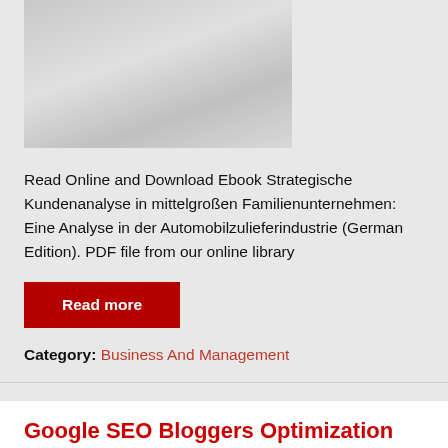[Figure (photo): Faded/washed out image of people, partially visible at top of page]
Read Online and Download Ebook Strategische Kundenanalyse in mittelgroßen Familienunternehmen: Eine Analyse in der Automobilzulieferindustrie (German Edition). PDF file from our online library
Read more
Category: Business And Management
Google SEO Bloggers Optimization Marketing PDF 49fe1fb19